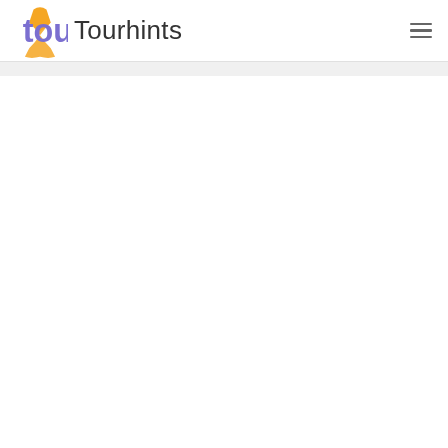Tourhints
[Figure (other): Large white content area below the header, mostly blank]